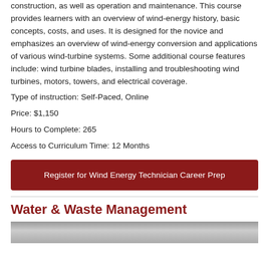construction, as well as operation and maintenance. This course provides learners with an overview of wind-energy history, basic concepts, costs, and uses. It is designed for the novice and emphasizes an overview of wind-energy conversion and applications of various wind-turbine systems. Some additional course features include: wind turbine blades, installing and troubleshooting wind turbines, motors, towers, and electrical coverage.
Type of instruction: Self-Paced, Online
Price: $1,150
Hours to Complete: 265
Access to Curriculum Time: 12 Months
Register for Wind Energy Technician Career Prep
Water & Waste Management
[Figure (photo): Photo of a person, partially visible at the bottom of the page]